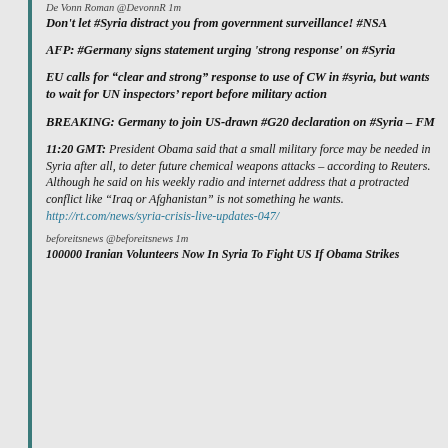De Vonn Roman @DevonnR 1m
Don't let #Syria distract you from government surveillance! #NSA
AFP: #Germany signs statement urging 'strong response' on #Syria
EU calls for “clear and strong” response to use of CW in #syria, but wants to wait for UN inspectors’ report before military action
BREAKING: Germany to join US-drawn #G20 declaration on #Syria – FM
11:20 GMT: President Obama said that a small military force may be needed in Syria after all, to deter future chemical weapons attacks – according to Reuters. Although he said on his weekly radio and internet address that a protracted conflict like “Iraq or Afghanistan” is not something he wants. http://rt.com/news/syria-crisis-live-updates-047/
beforeitsnews @beforeitsnews 1m
100000 Iranian Volunteers Now In Syria To Fight US If Obama Strikes